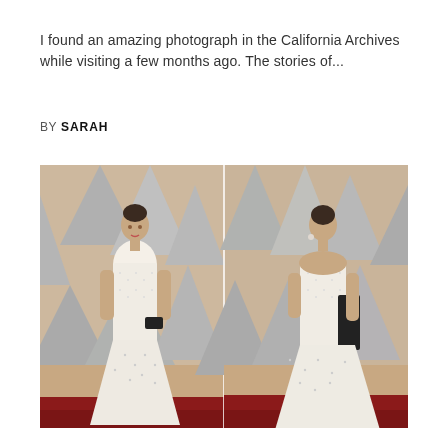I found an amazing photograph in the California Archives while visiting a few months ago. The stories of...
BY SARAH
[Figure (photo): Two side-by-side photos of a woman in a white dotted gown on a red carpet with grey Oscar statuette-shaped backdrop panels. Left photo shows front view; right photo shows back view of the same dress.]